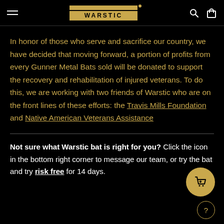WARSTIC (logo/navigation header)
In honor of those who serve and sacrifice our country, we have decided that moving forward, a portion of profits from every Gunner Metal Bats sold will be donated to support the recovery and rehabilitation of injured veterans. To do this, we are working with two friends of Warstic who are on the front lines of these efforts: the Travis Mills Foundation and Native American Veterans Assistance
Not sure what Warstic bat is right for you? Click the icon in the bottom right corner to message our team, or try the bat and try risk free for 14 days.